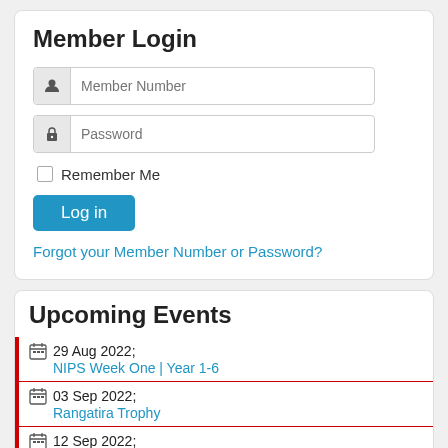Member Login
[Figure (screenshot): Member login form with Member Number input, Password input, Remember Me checkbox, Log in button, and forgot password link]
Forgot your Member Number or Password?
Upcoming Events
29 Aug 2022; NIPS Week One | Year 1-6
03 Sep 2022; Rangatira Trophy
12 Sep 2022; NIPS Week Two | Year 7-8
17 Sep 2022; Ngāuruhoe Trophy
19 Sep 2022;